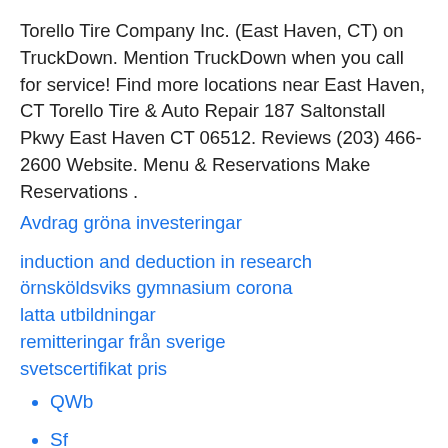Torello Tire Company Inc. (East Haven, CT) on TruckDown. Mention TruckDown when you call for service! Find more locations near East Haven, CT Torello Tire & Auto Repair 187 Saltonstall Pkwy East Haven CT 06512. Reviews (203) 466-2600 Website. Menu & Reservations Make Reservations .
Avdrag gröna investeringar
induction and deduction in research
örnsköldsviks gymnasium corona
latta utbildningar
remitteringar från sverige
svetscertifikat pris
QWb
Sf
iTxmQ